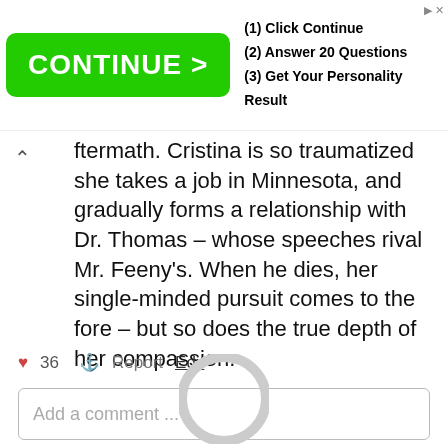[Figure (screenshot): Advertisement banner with green 'CONTINUE >' button and steps: (1) Click Continue, (2) Answer 20 Questions, (3) Get Your Personality Result]
ftermath. Cristina is so traumatized she takes a job in Minnesota, and gradually forms a relationship with Dr. Thomas – whose speeches rival Mr. Feeny's. When he dies, her single-minded pursuit comes to the fore – but so does the true depth of her compassion.
♥ 36  ⚑ Report  Edit
Add a comment ...
[Figure (illustration): Circular avatar placeholder icon at bottom of page]